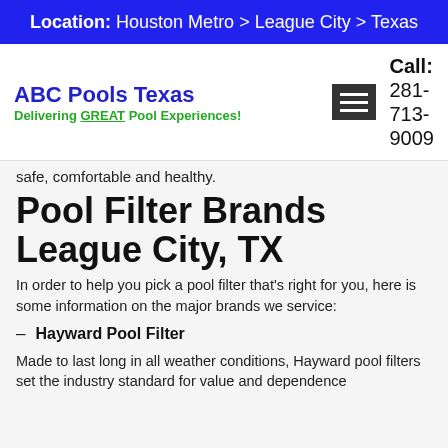Location: Houston Metro > League City > Texas
[Figure (logo): ABC Pools Texas logo with tagline 'Delivering GREAT Pool Experiences!']
Call: 281-713-9009
safe, comfortable and healthy.
Pool Filter Brands League City, TX
In order to help you pick a pool filter that's right for you, here is some information on the major brands we service:
– Hayward Pool Filter
Made to last long in all weather conditions, Hayward pool filters set the industry standard for value and dependence